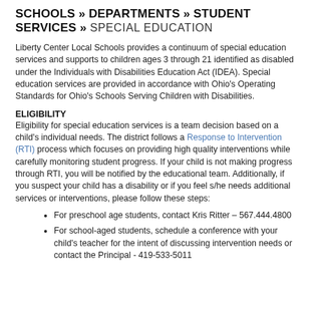SCHOOLS » DEPARTMENTS » STUDENT SERVICES » SPECIAL EDUCATION
Liberty Center Local Schools provides a continuum of special education services and supports to children ages 3 through 21 identified as disabled under the Individuals with Disabilities Education Act (IDEA). Special education services are provided in accordance with Ohio's Operating Standards for Ohio's Schools Serving Children with Disabilities.
ELIGIBILITY
Eligibility for special education services is a team decision based on a child's individual needs. The district follows a Response to Intervention (RTI) process which focuses on providing high quality interventions while carefully monitoring student progress. If your child is not making progress through RTI, you will be notified by the educational team. Additionally, if you suspect your child has a disability or if you feel s/he needs additional services or interventions, please follow these steps:
For preschool age students, contact Kris Ritter – 567.444.4800
For school-aged students, schedule a conference with your child's teacher for the intent of discussing intervention needs or contact the Principal - 419-533-5011